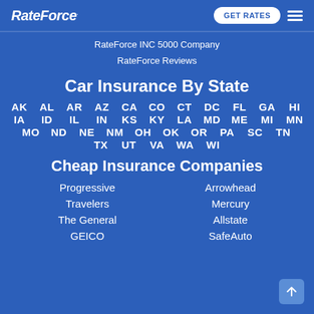RateForce | GET RATES | menu
RateForce INC 5000 Company
RateForce Reviews
Car Insurance By State
AK AL AR AZ CA CO CT DC FL GA HI IA ID IL IN KS KY LA MD ME MI MN MO ND NE NM OH OK OR PA SC TN TX UT VA WA WI
Cheap Insurance Companies
Progressive
Arrowhead
Travelers
Mercury
The General
Allstate
GEICO
SafeAuto